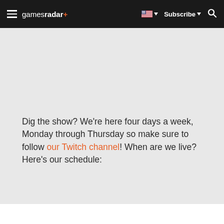gamesradar+ | Subscribe | Search
Dig the show? We’re here four days a week, Monday through Thursday so make sure to follow our Twitch channel! When are we live? Here’s our schedule: